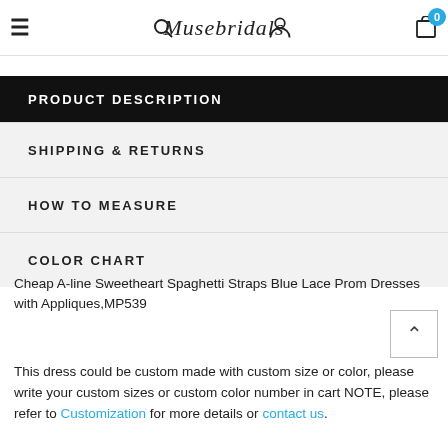≡  🔍  Musebridals  🔔  🛒 0
PRODUCT DESCRIPTION
SHIPPING & RETURNS
HOW TO MEASURE
COLOR CHART
Cheap A-line Sweetheart Spaghetti Straps Blue Lace Prom Dresses with Appliques,MP539
This dress could be custom made with custom size or color, please write your custom sizes or custom color number in cart NOTE, please refer to Customization for more details or contact us.